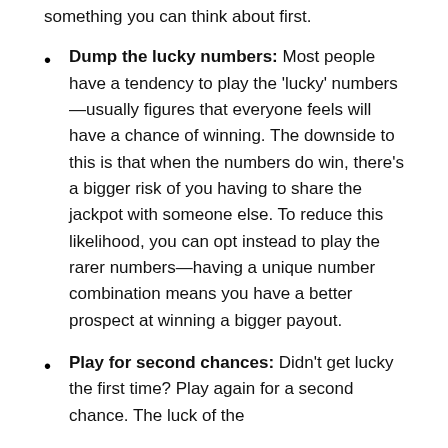even if they have smaller payouts, so this might be something you can think about first.
Dump the lucky numbers: Most people have a tendency to play the 'lucky' numbers—usually figures that everyone feels will have a chance of winning. The downside to this is that when the numbers do win, there's a bigger risk of you having to share the jackpot with someone else. To reduce this likelihood, you can opt instead to play the rarer numbers—having a unique number combination means you have a better prospect at winning a bigger payout.
Play for second chances: Didn't get lucky the first time? Play again for a second chance. The luck of the...